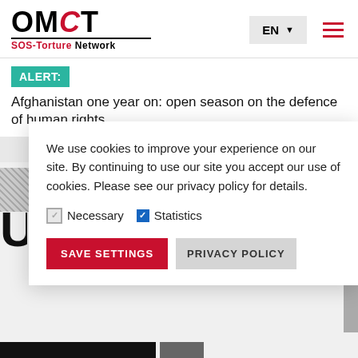[Figure (logo): OMCT SOS-Torture Network logo in black and red]
EN
ALERT: Afghanistan one year on: open season on the defence of human rights
We use cookies to improve your experience on our site. By continuing to use our site you accept our use of cookies. Please see our privacy policy for details.
Necessary   Statistics
SAVE SETTINGS   PRIVACY POLICY